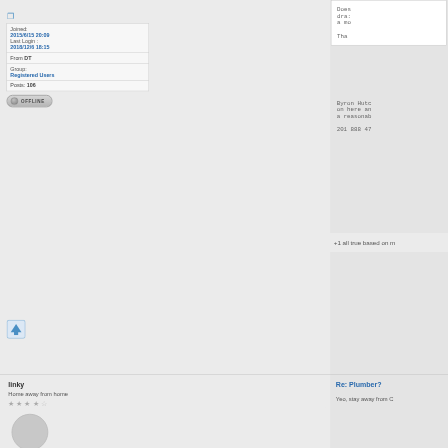| Joined: | 2015/6/15 20:09 |
| Last Login : | 2018/12/6 18:15 |
| From | DT |
| Group: | Registered Users |
| Posts: | 106 |
[Figure (other): Offline button with grey circle icon]
Does dra a mo Tha
Byron Hutc on here an a reasonab
201 888 47
+1 all true based on m
[Figure (other): Up arrow icon button]
linky
Home away from home
Re: Plumber?
Yeo, stay away from C